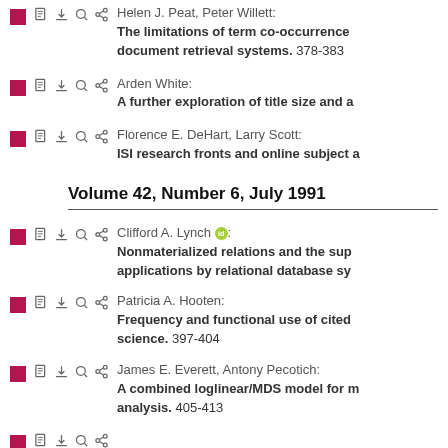Helen J. Peat, Peter Willett: The limitations of term co-occurrence data for query expansion in document retrieval systems. 378-383
Arden White: A further exploration of title size and a...
Florence E. DeHart, Larry Scott: ISI research fronts and online subject a...
Volume 42, Number 6, July 1991
Clifford A. Lynch: Nonmaterialized relations and the sup... applications by relational database sy...
Patricia A. Hooten: Frequency and functional use of cited... science. 397-404
James E. Everett, Antony Pecotich: A combined loglinear/MDS model for m... analysis. 405-413